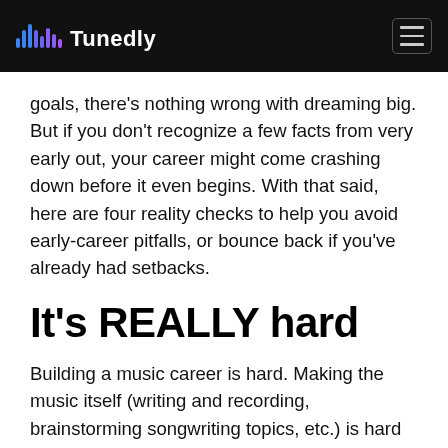Tunedly
goals, there’s nothing wrong with dreaming big. But if you don’t recognize a few facts from very early out, your career might come crashing down before it even begins. With that said, here are four reality checks to help you avoid early-career pitfalls, or bounce back if you’ve already had setbacks.
It’s REALLY hard
Building a music career is hard. Making the music itself (writing and recording, brainstorming songwriting topics, etc.) is hard work, especially if you want it to sound good enough for people to want to listen. But there is still much more you’ll